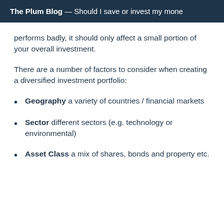The Plum Blog — Should I save or invest my mone
performs badly, it should only affect a small portion of your overall investment.
There are a number of factors to consider when creating a diversified investment portfolio:
Geography a variety of countries / financial markets
Sector different sectors (e.g. technology or environmental)
Asset Class a mix of shares, bonds and property etc.